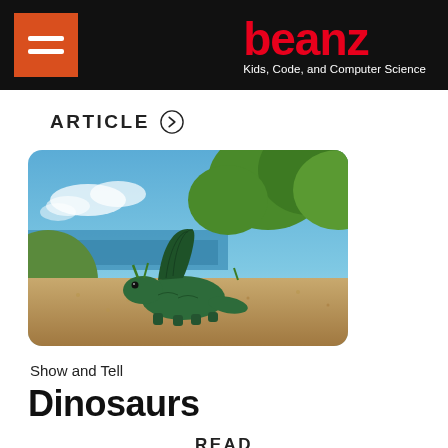beanz — Kids, Code, and Computer Science
ARTICLE
[Figure (photo): A green plastic dinosaur toy (dimetrodon/sail-backed dinosaur) sitting on sandy ground with ocean, sky, and tropical foliage in the blurred background.]
Show and Tell
Dinosaurs
READ